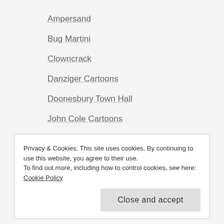Ampersand
Bug Martini
Clowncrack
Danziger Cartoons
Doonesbury Town Hall
John Cole Cartoons
Saturday Morning Breakfast Cereal
XKCD
Privacy & Cookies: This site uses cookies. By continuing to use this website, you agree to their use.
To find out more, including how to control cookies, see here: Cookie Policy
Close and accept